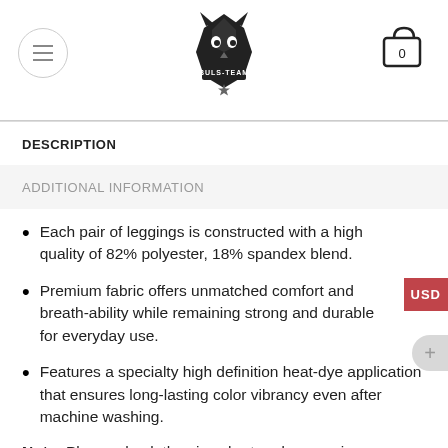BULS-TEAM logo with menu and cart
DESCRIPTION
ADDITIONAL INFORMATION
Each pair of leggings is constructed with a high quality of 82% polyester, 18% spandex blend.
Premium fabric offers unmatched comfort and breath-ability while remaining strong and durable for everyday use.
Features a specialty high definition heat-dye application that ensures long-lasting color vibrancy even after machine washing.
Note: Please check the size chart and measuring